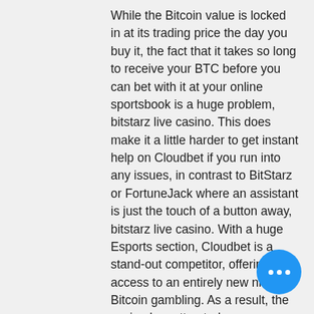While the Bitcoin value is locked in at its trading price the day you buy it, the fact that it takes so long to receive your BTC before you can bet with it at your online sportsbook is a huge problem, bitstarz live casino. This does make it a little harder to get instant help on Cloudbet if you run into any issues, in contrast to BitStarz or FortuneJack where an assistant is just the touch of a button away, bitstarz live casino. With a huge Esports section, Cloudbet is a stand-out competitor, offering access to an entirely new niche of Bitcoin gambling. As a result, the casino has attracted many new users who wouldn't normally place bets using cryptocurrency.
Live bitcoin roulette on tv
Bitstarz is overall an exceptional destination for most players looking to play top-quality live dealer games. There are more tables than most of the competing. Slots; table